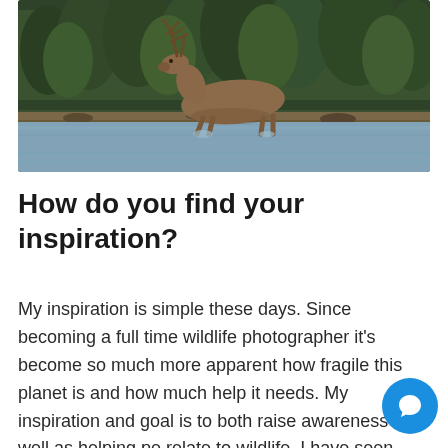[Figure (photo): A bull elk with antlers wading across a river or shallow water body, with dense green trees in the background. The animal is photographed in profile walking left to right through the water.]
How do you find your inspiration?
My inspiration is simple these days. Since becoming a full time wildlife photographer it's become so much more apparent how fragile this planet is and how much help it needs. My inspiration and goal is to both raise awareness as well as helping pe relate to wildlife. I have seen distinct